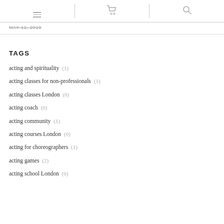[menu icon] [cart icon] [search icon]
MAY 11, 2019
TAGS
acting and spirituality  (1)
acting classes for non-professionals  (1)
acting classes London  (0)
acting coach  (0)
acting community  (1)
acting courses London  (0)
acting for choreographers  (1)
acting games  (2)
acting school London  (0)